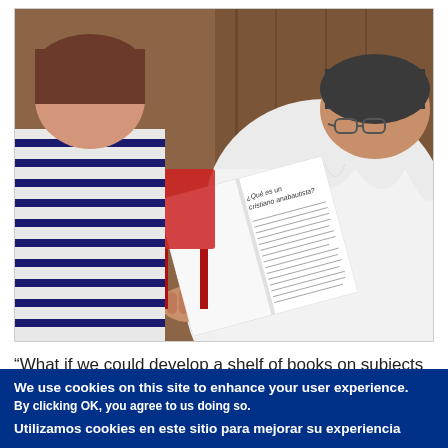[Figure (photo): A person wearing glasses and a white shirt is seen from behind, reading an open book. Another person in a striped shirt sits nearby. The book page shows text in Spanish beginning with '¿Qué es un cristiano anabautista?'. Wooden background visible.]
"What if we could develop a shelf of books on subjects key to Anabaptist-Mennonites around the world, written by authors
We use cookies on this site to enhance your user experience. By clicking OK, you agree to us doing so. Utilizamos cookies en este sitio para mejorar su experiencia